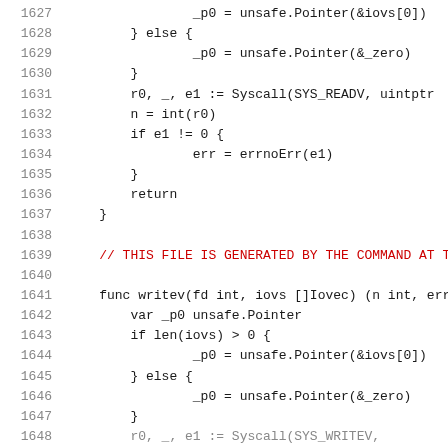[Figure (screenshot): Source code listing in Go language, lines 1627-1647, showing code for readv and writev syscall wrappers including pointer handling and error checking.]